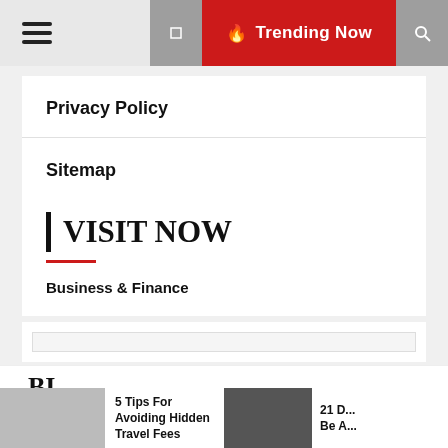Trending Now
Privacy Policy
Sitemap
| VISIT NOW
Business & Finance
BI
5 Tips For Avoiding Hidden Travel Fees
21 D... Be A...